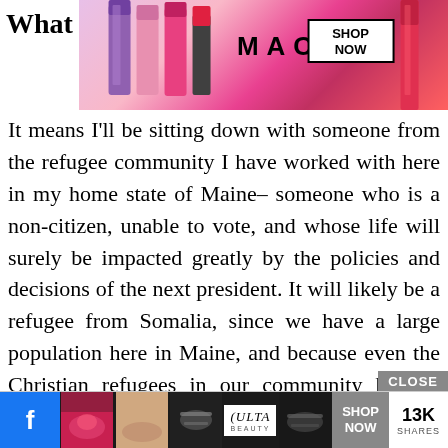[Figure (screenshot): Top advertisement banner for MAC cosmetics showing lipsticks, MAC logo, and SHOP NOW button. Preceded by the word 'What'.]
It means I'll be sitting down with someone from the refugee community I have worked with here in my home state of Maine– someone who is a non-citizen, unable to vote, and whose life will surely be impacted greatly by the policies and decisions of the next president. It will likely be a refugee from Somalia, since we have a large population here in Maine, and because even the Christian refugees in our community have a larger portion of privilege than our new Muslim friends.
[Figure (screenshot): Bottom advertisement bar for ULTA beauty products with Facebook share button showing 13K shares, makeup imagery, ULTA logo, and SHOP NOW button. Also shows CLOSE button overlay.]